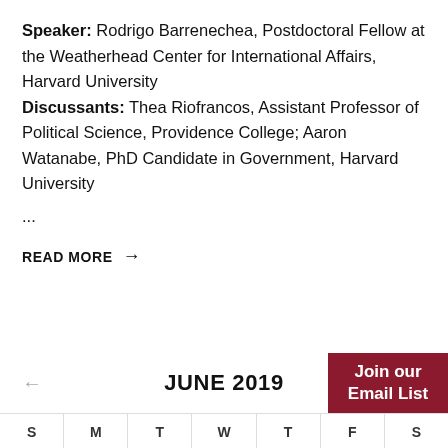Speaker: Rodrigo Barrenechea, Postdoctoral Fellow at the Weatherhead Center for International Affairs, Harvard University Discussants: Thea Riofrancos, Assistant Professor of Political Science, Providence College; Aaron Watanabe, PhD Candidate in Government, Harvard University
...
READ MORE →
JUNE 2019
Join our Email List
| S | M | T | W | T | F | S |
| --- | --- | --- | --- | --- | --- | --- |